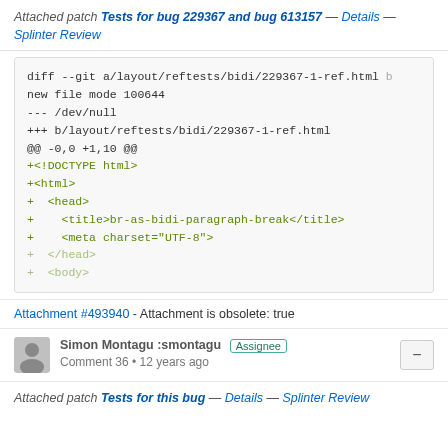Attached patch Tests for bug 229367 and bug 613157 — Details — Splinter Review
[Figure (screenshot): Code diff block showing git diff output for layout/reftests/bidi/229367-1-ref.html with new file mode 100644, showing added HTML boilerplate lines in green monospace font]
Attachment #493940 - Attachment is obsolete: true
Simon Montagu :smontagu  Assignee  Comment 36 • 12 years ago
Attached patch Tests for this bug — Details — Splinter Review